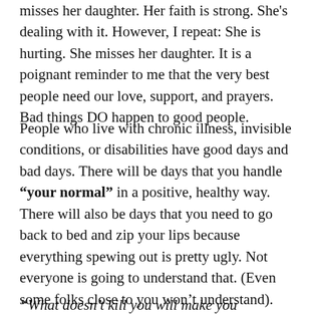misses her daughter. Her faith is strong. She's dealing with it. However, I repeat: She is hurting. She misses her daughter. It is a poignant reminder to me that the very best people need our love, support, and prayers. Bad things DO happen to good people.
People who live with chronic illness, invisible conditions, or disabilities have good days and bad days. There will be days that you handle "your normal" in a positive, healthy way. There will also be days that you need to go back to bed and zip your lips because everything spewing out is pretty ugly. Not everyone is going to understand that. (Even some folks close to you won't understand). Want to know some "ol' sayings" that get on my very last nerve?
“What doesn’t kill you will make you stronger”